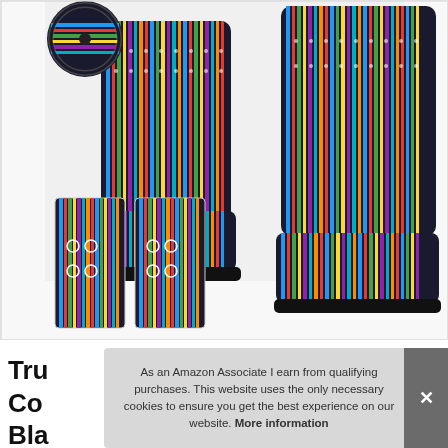[Figure (photo): Product photo of colorful Baja-style car seat covers with striped multicolor pattern in blue, red, green, yellow. Two front seat covers shown side by side, a circular thumbnail of a steering wheel cover top-left, and two small rectangular seatbelt cover thumbnails at bottom-left.]
Tru
Co
Bla
As an Amazon Associate I earn from qualifying purchases. This website uses the only necessary cookies to ensure you get the best experience on our website. More information